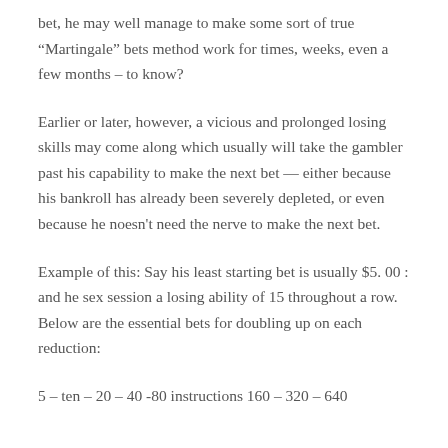bet, he may well manage to make some sort of true “Martingale” bets method work for times, weeks, even a few months – to know?
Earlier or later, however, a vicious and prolonged losing skills may come along which usually will take the gambler past his capability to make the next bet — either because his bankroll has already been severely depleted, or even because he noesn't need the nerve to make the next bet.
Example of this: Say his least starting bet is usually $5. 00 : and he sex session a losing ability of 15 throughout a row. Below are the essential bets for doubling up on each reduction:
5 – ten – 20 – 40 -80 instructions 160 – 320 – 640